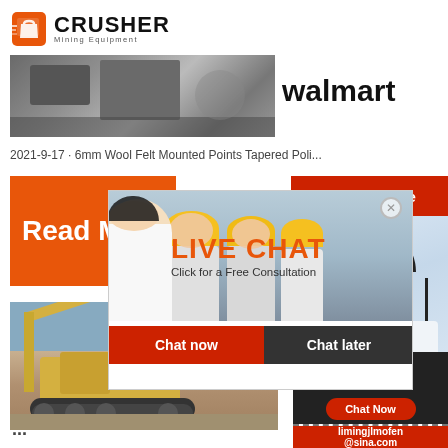[Figure (logo): Crusher Mining Equipment logo with shopping bag icon]
[Figure (photo): Industrial machinery photo (top, partially visible)]
walmart
2021-9-17 · 6mm Wool Felt Mounted Points Tapered Poli...
[Figure (infographic): Read More orange banner on left side]
[Figure (screenshot): Live chat popup overlay with workers photo, LIVE CHAT heading, Click for a Free Consultation, Chat now and Chat later buttons]
24Hrs Online
[Figure (photo): Customer service representative with headset on right side]
[Figure (photo): Excavator / mining equipment on construction site]
Diamo...
Burrs
Rotar...
Acces...
Need questions & suggestion?
Chat Now
Enquiry
limingjlmofen@sina.com
...